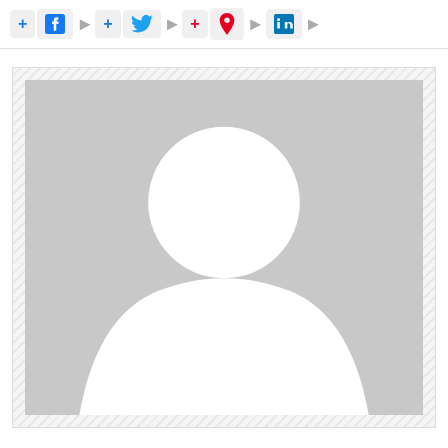[Figure (screenshot): Social media share bar with Facebook, Twitter, Pinterest, and LinkedIn buttons with blue plus signs]
[Figure (illustration): Generic user avatar placeholder image: gray background with white silhouette of a person (head circle and body arc)]